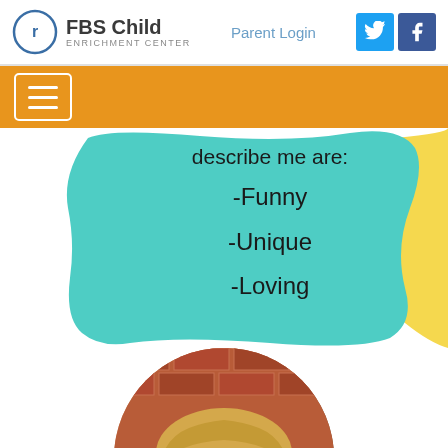FBS Child Enrichment Center | Parent Login
[Figure (screenshot): Website navigation bar with orange background and hamburger menu button]
[Figure (illustration): Teal painted blob shape with text 'describe me are: -Funny -Unique -Loving' and partial yellow blob on right side]
[Figure (photo): Circular cropped photo of a woman with blonde hair in front of a brick building]